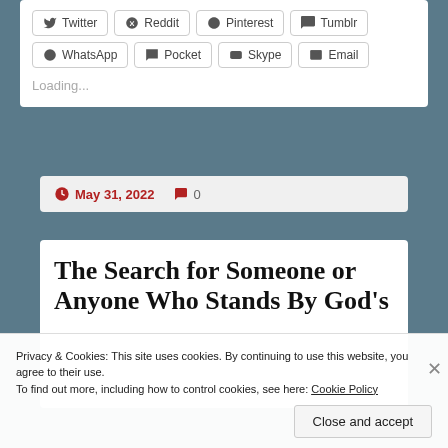[Figure (screenshot): Social share buttons: Twitter, Reddit, Pinterest, Tumblr, WhatsApp, Pocket, Skype, Email]
Loading...
May 31, 2022   0
The Search for Someone or Anyone Who Stands By God's
Privacy & Cookies: This site uses cookies. By continuing to use this website, you agree to their use. To find out more, including how to control cookies, see here: Cookie Policy
Close and accept